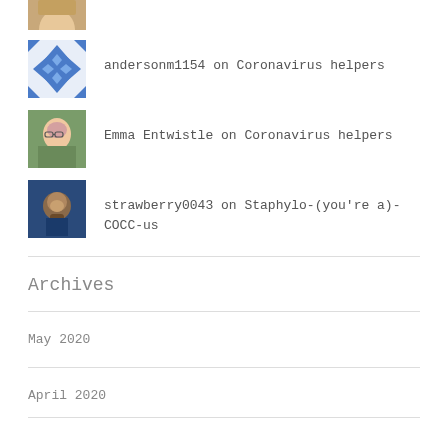[Figure (photo): Partial photo of a person with blonde hair, cropped at top]
andersonm1154 on Coronavirus helpers
Emma Entwistle on Coronavirus helpers
strawberry0043 on Staphylo-(you're a)-COCC-us
Archives
May 2020
April 2020